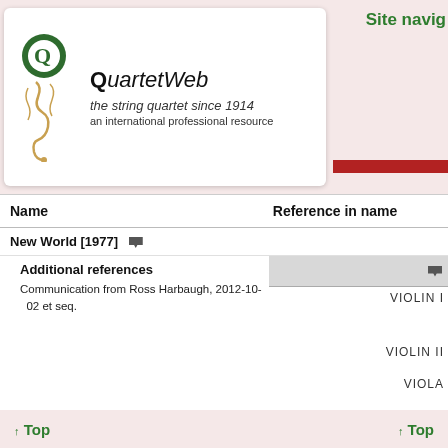QuartetWeb — the string quartet since 1914 — an international professional resource
| Name | Reference in name |
| --- | --- |
| New World [1977] |  |
| Additional references |  |
| Communication from Ross Harbaugh, 2012-10-02 et seq. | VIOLIN I |
|  | VIOLIN II |
|  | VIOLA |
|  | CELLO |
↑ Top    ↑ Top